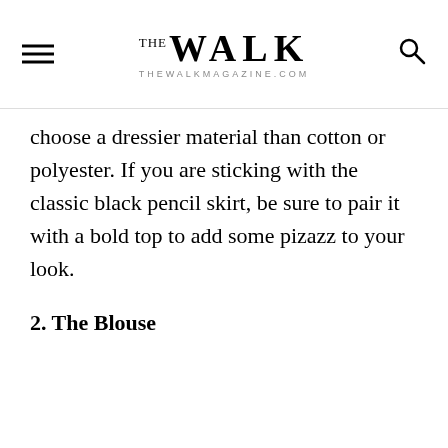THE WALK
choose a dressier material than cotton or polyester.  If you are sticking with the classic black pencil skirt, be sure to pair it with a bold top to add some pizazz to your look.
2. The Blouse